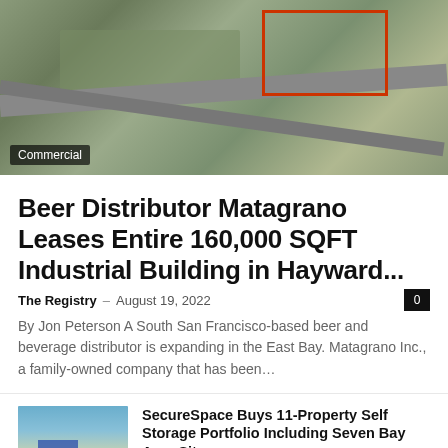[Figure (photo): Aerial satellite view of an industrial area with roads and a red-outlined property boundary. A 'Commercial' badge overlays the bottom-left.]
Beer Distributor Matagrano Leases Entire 160,000 SQFT Industrial Building in Hayward...
The Registry – August 19, 2022  0
By Jon Peterson A South San Francisco-based beer and beverage distributor is expanding in the East Bay. Matagrano Inc., a family-owned company that has been...
[Figure (photo): Thumbnail photo of a self-storage facility with trees and blue sky.]
SecureSpace Buys 11-Property Self Storage Portfolio Including Seven Bay Area Sites...
August 18, 2022
[Figure (photo): Thumbnail photo of a brick building with blue sky.]
Supply Can't Keep up With Surging Demand in San Francisco Bay...